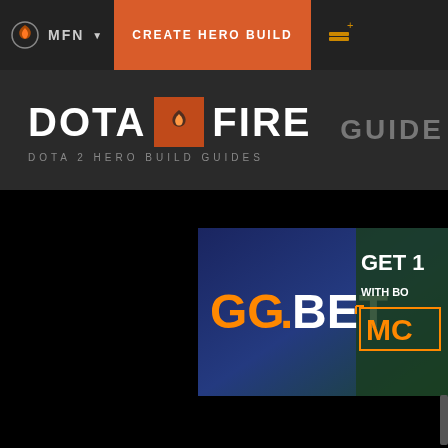MFN  CREATE HERO BUILD
DOTA FIRE — DOTA 2 HERO BUILD GUIDES
GUIDE
[Figure (screenshot): GGBet advertisement banner showing orange 'GG.BET' logo text on a blue/dark background, with 'GET 1' and 'WITH BC' text on the right side and an orange 'MC' button]